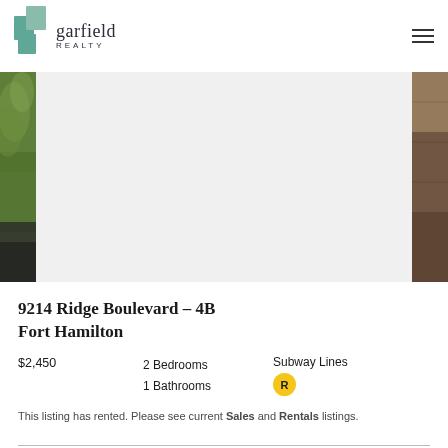garfield REALTY
[Figure (photo): Property photo strip showing exterior view with greenery on left and wood/brick on right, white center]
9214 Ridge Boulevard – 4B
Fort Hamilton
$2,450  2 Bedrooms  1 Bathrooms  Subway Lines R
This listing has rented. Please see current Sales and Rentals listings.